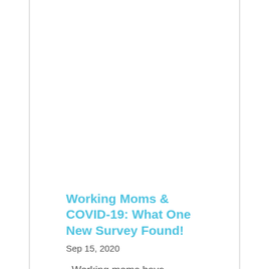Working Moms & COVID-19: What One New Survey Found!
Sep 15, 2020
Working moms have undoubtedly been dealt an almost impossible hand with